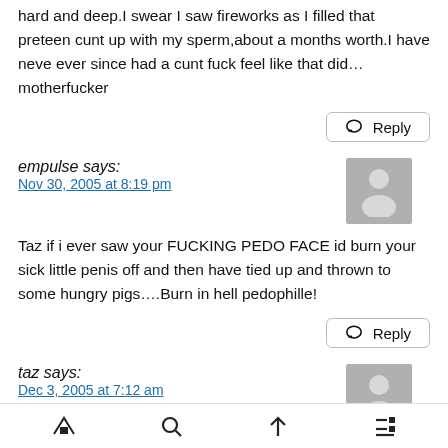hard and deep.I swear I saw fireworks as I filled that preteen cunt up with my sperm,about a months worth.I have neve ever since had a cunt fuck feel like that did…motherfucker
Reply
empulse says:
Nov 30, 2005 at 8:19 pm
Taz if i ever saw your FUCKING PEDO FACE id burn your sick little penis off and then have tied up and thrown to some hungry pigs….Burn in hell pedophille!
Reply
taz says:
Dec 3, 2005 at 7:12 am